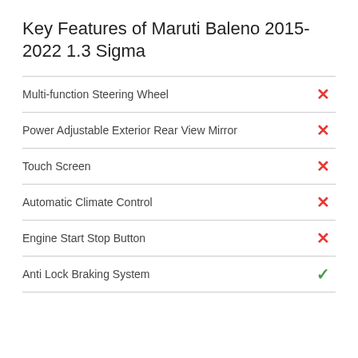Key Features of Maruti Baleno 2015-2022 1.3 Sigma
| Feature | Available |
| --- | --- |
| Multi-function Steering Wheel | ✗ |
| Power Adjustable Exterior Rear View Mirror | ✗ |
| Touch Screen | ✗ |
| Automatic Climate Control | ✗ |
| Engine Start Stop Button | ✗ |
| Anti Lock Braking System | ✓ |